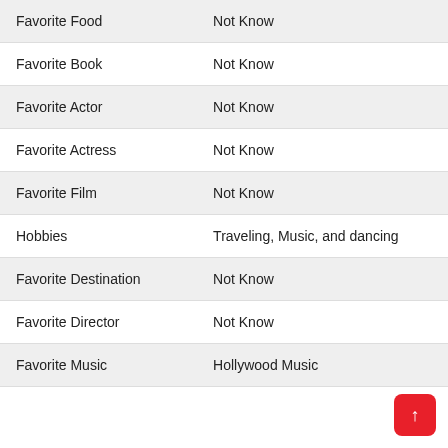|  |  |
| --- | --- |
| Favorite Food | Not Know |
| Favorite Book | Not Know |
| Favorite Actor | Not Know |
| Favorite Actress | Not Know |
| Favorite Film | Not Know |
| Hobbies | Traveling, Music, and dancing |
| Favorite Destination | Not Know |
| Favorite Director | Not Know |
| Favorite Music | Hollywood Music |